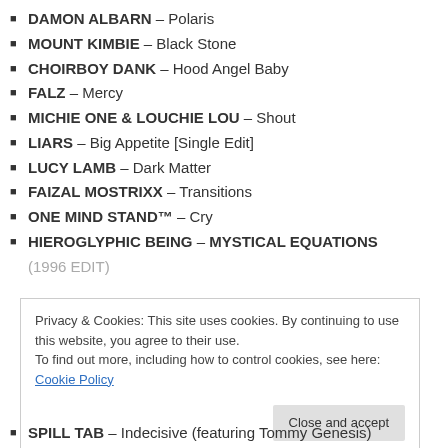DAMON ALBARN – Polaris
MOUNT KIMBIE – Black Stone
CHOIRBOY DANK – Hood Angel Baby
FALZ – Mercy
MICHIE ONE & LOUCHIE LOU – Shout
LIARS – Big Appetite [Single Edit]
LUCY LAMB – Dark Matter
FAIZAL MOSTRIXX – Transitions
ONE MIND STAND™ – Cry
HIEROGLYPHIC BEING – MYSTICAL EQUATIONS (1996 EDIT)
Privacy & Cookies: This site uses cookies. By continuing to use this website, you agree to their use.
To find out more, including how to control cookies, see here: Cookie Policy
SPILL TAB – Indecisive (featuring Tommy Genesis)